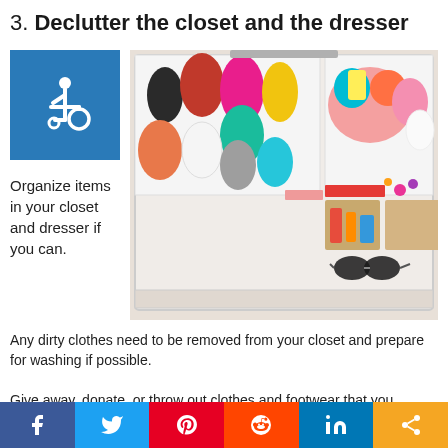3.  Declutter the closet and the dresser
[Figure (illustration): Wheelchair accessibility icon, white symbol on blue background]
[Figure (photo): Open dresser drawer with neatly organized, rolled and folded colorful clothes, accessories including sunglasses, and small compartment organizers]
Organize items in your closet and dresser if you can.
Any dirty clothes need to be removed from your closet and prepare for washing if possible.
Give away, donate, or throw out clothes and footwear that you
f  t  P  reddit  in  share